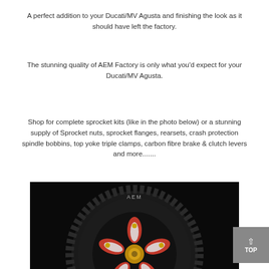A perfect addition to your Ducati/MV Agusta and finishing the look as it should have left the factory.
The stunning quality of AEM Factory is only what you'd expect for your Ducati/MV Agusta.
Shop for complete sprocket kits (like in the photo below) or a stunning supply of Sprocket nuts, sprocket flanges, rearsets, crash protection spindle bobbins, top yoke triple clamps, carbon fibre brake & clutch levers and more.......
[Figure (photo): Close-up photo of an AEM branded motorcycle sprocket on a black background, showing the sprocket with decorative red, white and gold colored center hub components.]